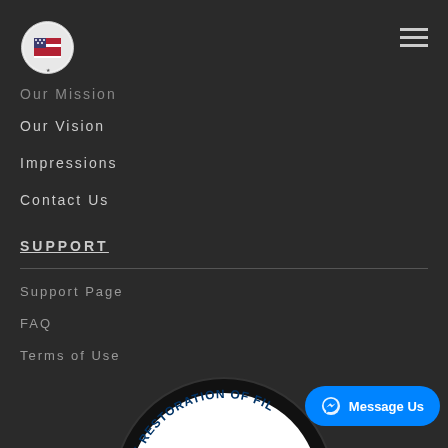[Figure (logo): Circular organizational logo with flag/emblem design]
Our Mission
Our Vision
Impressions
Contact Us
SUPPORT
Support Page
FAQ
Terms of Use
[Figure (logo): Circular seal/emblem with text 'THE RESTORATION OF FIL' and 'GREY CRI' visible at bottom, black and white design]
Message Us